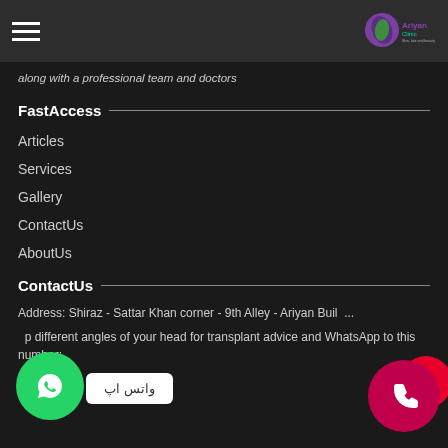Ariyan Clinic - Skin, hair and beauty
along with a professional team and doctors
FastAccess
Articles
Services
Gallery
ContactUs
AboutUs
ContactUs
Address: Shiraz - Sattar Khan corner - 9th Alley - Ariyan Buil...
...p different angles of your head for transplant advice and WhatsApp to this number: